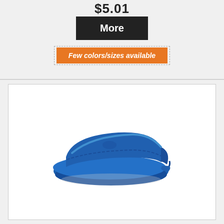$5.01
More
Few colors/sizes available
[Figure (photo): Blue sun visor cap on white background inside a white bordered product card]